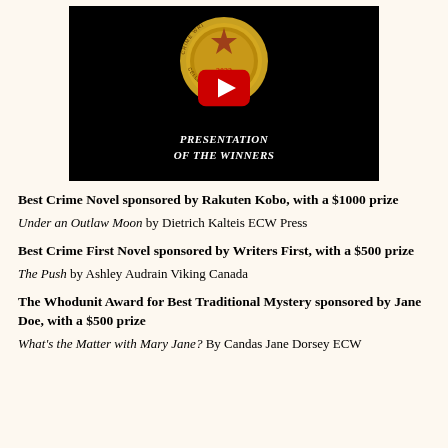[Figure (screenshot): YouTube video thumbnail showing a Crime Writers award medal (2022) on black background with YouTube play button overlay and text 'PRESENTATION OF THE WINNERS']
Best Crime Novel sponsored by Rakuten Kobo, with a $1000 prize
Under an Outlaw Moon by Dietrich Kalteis ECW Press
Best Crime First Novel sponsored by Writers First, with a $500 prize
The Push by Ashley Audrain Viking Canada
The Whodunit Award for Best Traditional Mystery sponsored by Jane Doe, with a $500 prize
What's the Matter with Mary Jane? By Candas Jane Dorsey ECW